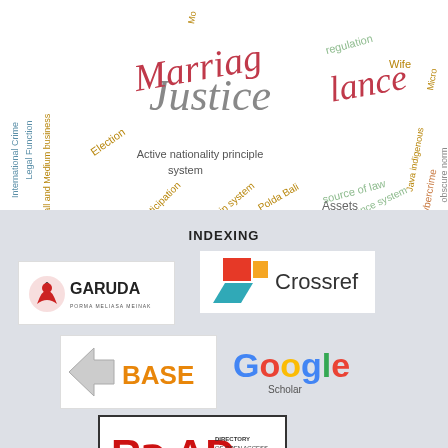[Figure (other): Word cloud with legal and law-related terms including: Justice (large, gray), Marriage (large, dark red), Lance/Finance (large, dark red), International Crime, Legal Function, Small and Medium business, Election, Active nationality principle, system, participation, kinship system, Polda Bali, source of law, inheritance system, Assets, regulation, Wife, Java indigenous, Micro, Cybercrime, obscure norm]
INDEXING
[Figure (logo): GARUDA logo (Indonesian academic database) - red eagle icon with GARUDA text]
[Figure (logo): Crossref logo - red and teal arrow shapes with Crossref text]
[Figure (logo): BASE logo - arrow icon with BASE text in orange]
[Figure (logo): Google Scholar logo - colorful Google text with Scholar below]
[Figure (logo): ROAD logo - Directory of Open Access Scholarly Resources]